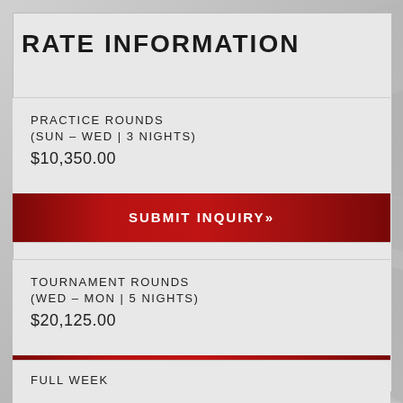RATE INFORMATION
PRACTICE ROUNDS
(SUN – WED | 3 NIGHTS)
$10,350.00
SUBMIT INQUIRY»
TOURNAMENT ROUNDS
(WED – MON | 5 NIGHTS)
$20,125.00
SUBMIT INQUIRY»
FULL WEEK